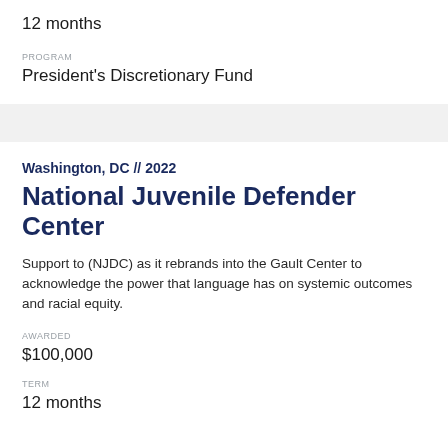12 months
PROGRAM
President's Discretionary Fund
Washington, DC // 2022
National Juvenile Defender Center
Support to (NJDC) as it rebrands into the Gault Center to acknowledge the power that language has on systemic outcomes and racial equity.
AWARDED
$100,000
TERM
12 months